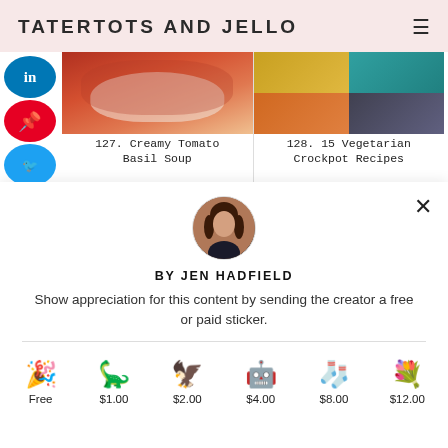TATERTOTS AND JELLO
[Figure (photo): Recipe card 127: Creamy Tomato Basil Soup - photo of tomato soup in white bowl]
127. Creamy Tomato Basil Soup
[Figure (photo): Recipe card 128: 15 Vegetarian Crockpot Recipes - collage of crockpot dishes]
128. 15 Vegetarian Crockpot Recipes
[Figure (photo): Author avatar circle photo of Jen Hadfield]
BY JEN HADFIELD
Show appreciation for this content by sending the creator a free or paid sticker.
Free
$1.00
$2.00
$4.00
$8.00
$12.00